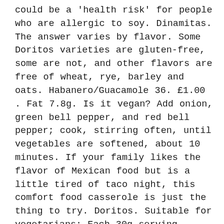could be a 'health risk' for people who are allergic to soy. Dinamitas. The answer varies by flavor. Some Doritos varieties are gluten-free, some are not, and other flavors are free of wheat, rye, barley and oats. Habanero/Guacamole 36. £1.00 . Fat 7.8g. Is it vegan? Add onion, green bell pepper, and red bell pepper; cook, stirring often, until vegetables are softened, about 10 minutes. If your family likes the flavor of Mexican food but is a little tired of taco night, this comfort food casserole is just the thing to try. Doritos. Suitable for vegetarians; Each 30g serving contains: Energy 628kJ 150kcal. That's less than a grab bag of Tangy Cheese flavour normal Doritos, which contain 724 calories. Frito-Lay has validated through analytical testing that the following products contain less than 20 ppm of gluten, the level put forward in ... Verified purchase: Yes | Condition: New. These crisps are perfect if you are